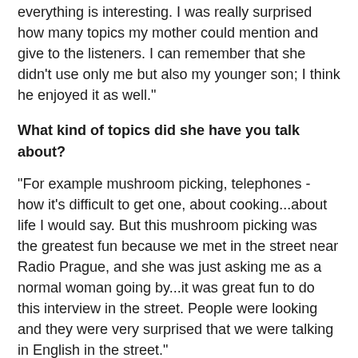everything is interesting. I was really surprised how many topics my mother could mention and give to the listeners. I can remember that she didn't use only me but also my younger son; I think he enjoyed it as well."
What kind of topics did she have you talk about?
"For example mushroom picking, telephones - how it's difficult to get one, about cooking...about life I would say. But this mushroom picking was the greatest fun because we met in the street near Radio Prague, and she was just asking me as a normal woman going by...it was great fun to do this interview in the street. People were looking and they were very surprised that we were talking in English in the street."
You're an MP for the Social Democrats. Is it a case that there's a history of politics in your family?